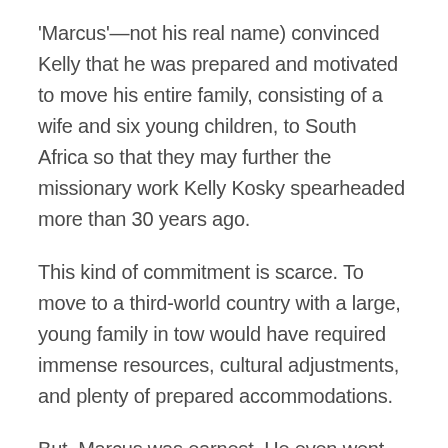'Marcus'—not his real name) convinced Kelly that he was prepared and motivated to move his entire family, consisting of a wife and six young children, to South Africa so that they may further the missionary work Kelly Kosky spearheaded more than 30 years ago.
This kind of commitment is scarce. To move to a third-world country with a large, young family in tow would have required immense resources, cultural adjustments, and plenty of prepared accommodations.
But, Marcus was earnest. He even went so far as to give Kelly Kosky a 30-year commitment; he insisted on making this move.